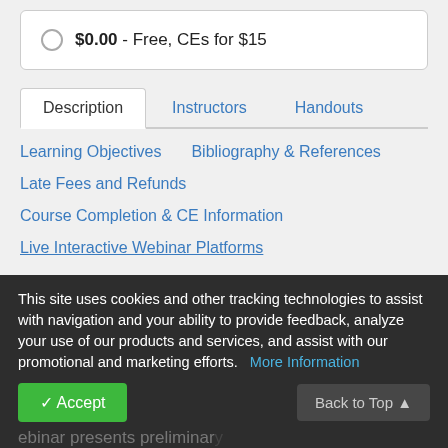$0.00 - Free, CEs for $15
Description | Instructors | Handouts
Learning Objectives   Bibliography & References
Late Fees and Refunds
Course Completion & CE Information
Live Interactive Webinar Platforms
This site uses cookies and other tracking technologies to assist with navigation and your ability to provide feedback, analyze your use of our products and services, and assist with our promotional and marketing efforts.   More Information
ebinar presents preliminary